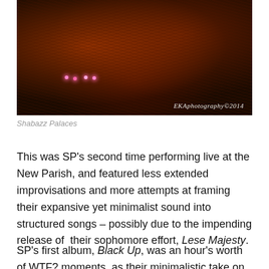[Figure (photo): Dark stage photo of Shabazz Palaces performing live, with red/orange lighting and patterned backdrop. Photo credit: EKAphotography©2014]
Shabazz Palaces
This was SP's second time performing live at the New Parish, and featured less extended improvisations and more attempts at framing their expansive yet minimalist sound into structured songs – possibly due to the impending release of  their sophomore effort, Lese Majesty.
SP's first album, Black Up, was an hour's worth of WTF? moments, as their minimalistic take on world music and